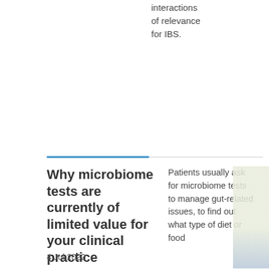interactions of relevance for IBS.
Why microbiome tests are currently of limited value for your clinical practice
4 Jul 2022
Patients usually ask for microbiome tests to manage gut-related issues, to find out what type of diet or food